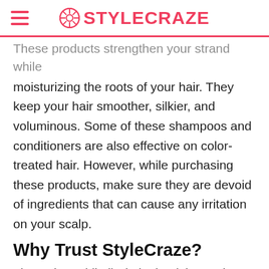STYLECRAZE
These products strengthen your strand while moisturizing the roots of your hair. They keep your hair smoother, silkier, and voluminous. Some of these shampoos and conditioners are also effective on color-treated hair. However, while purchasing these products, make sure they are devoid of ingredients that can cause any irritation on your scalp.
Why Trust StyleCraze?
The author, Shiboli Chakraborti, is passionate about hair care. She has researched shampoos and conditioners that are useful if you have a dry scalp. The author carefully browsed through online reviews